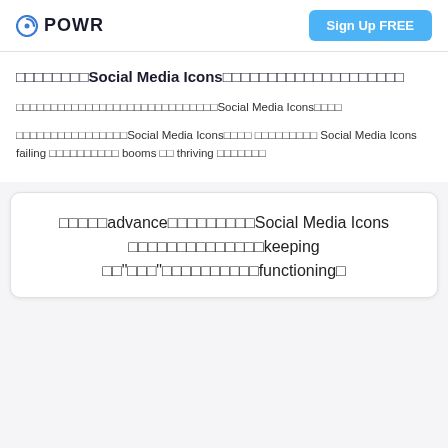POWR | Sign Up FREE
□□□□□□□□Social Media Icons□□□□□□□□□□□□□□□□□□□□
□□□□□□□□□□□□□□□□□□□□□□□□□□□□□Social Media Icons□□□□
□□□□□□□□□□□□□□□□Social Media Icons□□□□ □□□□□□□□□ Social Media Icons failing □□□□□□□□□□ booms □□ thriving □□□□□□□
□□□□□advance□□□□□□□□□Social Media Icons □□□□□□□□□□□□keeping □□"□□□"□□□□□□□□□□functioning□